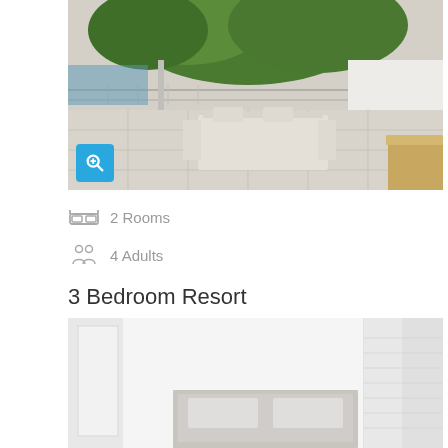[Figure (photo): Outdoor dining area with white table and chairs on a tiled terrace, trees and pool visible in background]
2 Rooms
4 Adults
3 Bedroom Resort
[Figure (photo): Bright white bedroom interior with headboard/bed and sliding closet doors]